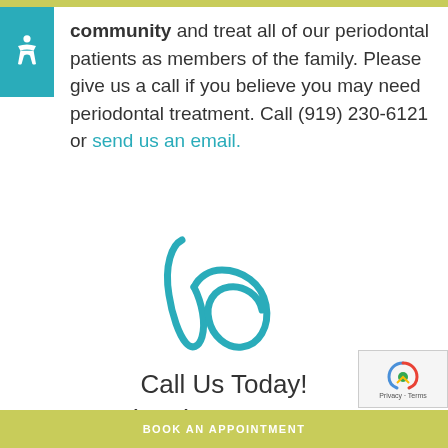community and treat all of our periodontal patients as members of the family. Please give us a call if you believe you may need periodontal treatment. Call (919) 230-6121 or send us an email.
[Figure (logo): Cursive VP or initials logo in teal/blue color]
Call Us Today!
(919) 230-6121
BOOK AN APPOINTMENT